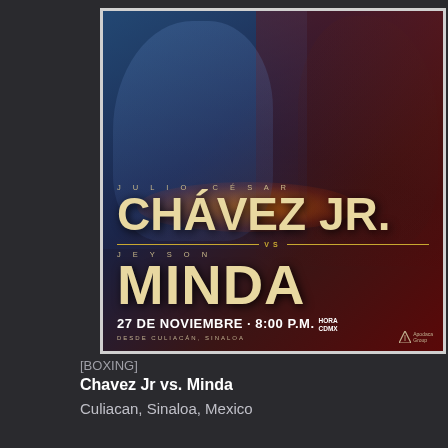[Figure (photo): Boxing event promotional poster for Julio Cesar Chavez Jr vs Jeyson Minda. Blue and red split background with both fighters posed. Text reads: JULIO CESAR CHAVEZ JR. vs JEYSON MINDA, 27 DE NOVIEMBRE · 8:00 P.M. HORA CDMX, DESDE CULIACÁN, SINALOA. Apodaca Group logo bottom right.]
[BOXING]
Chavez Jr vs. Minda
Culiacan, Sinaloa, Mexico